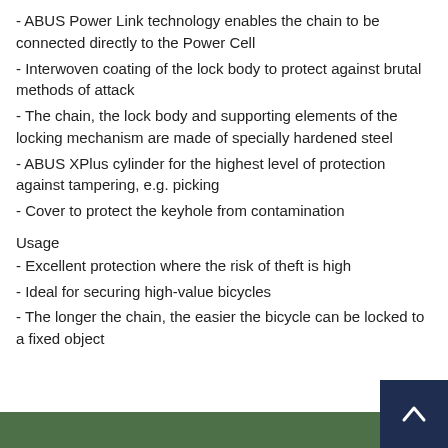- ABUS Power Link technology enables the chain to be connected directly to the Power Cell
- Interwoven coating of the lock body to protect against brutal methods of attack
- The chain, the lock body and supporting elements of the locking mechanism are made of specially hardened steel
- ABUS XPlus cylinder for the highest level of protection against tampering, e.g. picking
- Cover to protect the keyhole from contamination
Usage
- Excellent protection where the risk of theft is high
- Ideal for securing high-value bicycles
- The longer the chain, the easier the bicycle can be locked to a fixed object